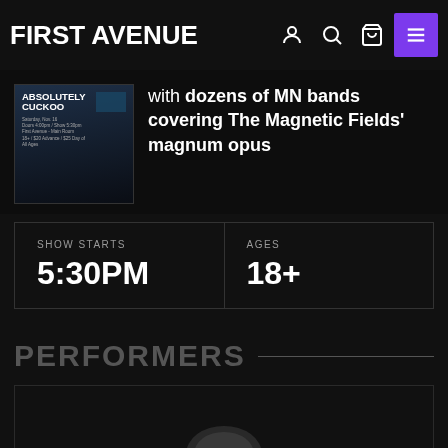FIRST AVENUE
[Figure (screenshot): Absolutely Cuckoo event poster thumbnail]
with dozens of MN bands covering The Magnetic Fields' magnum opus
| SHOW STARTS | AGES |
| --- | --- |
| 5:30PM | 18+ |
PERFORMERS
[Figure (photo): Partially visible circular performer photo at bottom of page]